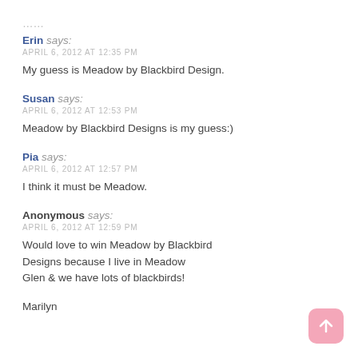Erin says: APRIL 6, 2012 AT 12:35 PM — My guess is Meadow by Blackbird Design.
Susan says: APRIL 6, 2012 AT 12:53 PM — Meadow by Blackbird Designs is my guess:)
Pia says: APRIL 6, 2012 AT 12:57 PM — I think it must be Meadow.
Anonymous says: APRIL 6, 2012 AT 12:59 PM — Would love to win Meadow by Blackbird Designs because I live in Meadow Glen & we have lots of blackbirds!
Marilyn